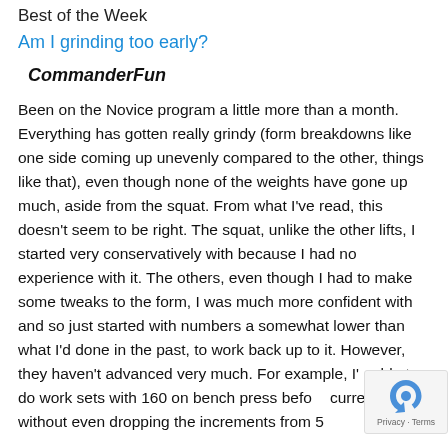Best of the Week
Am I grinding too early?
CommanderFun
Been on the Novice program a little more than a month. Everything has gotten really grindy (form breakdowns like one side coming up unevenly compared to the other, things like that), even though none of the weights have gone up much, aside from the squat. From what I've read, this doesn't seem to be right. The squat, unlike the other lifts, I started very conservatively with because I had no experience with it. The others, even though I had to make some tweaks to the form, I was much more confident with and so just started with numbers a somewhat lower than what I'd done in the past, to work back up to it. However, they haven't advanced very much. For example, I'd able to do work sets with 160 on bench press before current run, without even dropping the increments from 5